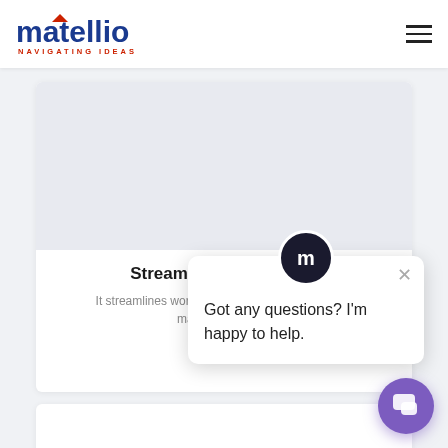[Figure (logo): Matellio logo with 'NAVIGATING IDEAS' tagline]
[Figure (screenshot): Streamlined Workflows card with image area and partial text]
Streamlined Workflows
It streamlines workflows & assists the calibration managers who calibr...
[Figure (screenshot): Chat popup with Matellio m avatar and message: Got any questions? I'm happy to help.]
Got any questions? I'm happy to help.
[Figure (screenshot): Second card partially visible at bottom of page]
[Figure (illustration): Purple chat button with speech bubble icon in bottom right corner]